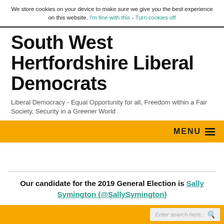We store cookies on your device to make sure we give you the best experience on this website. I'm fine with this - Turn cookies off
South West Hertfordshire Liberal Democrats
Liberal Democracy - Equal Opportunity for all, Freedom within a Fair Society, Security in a Greener World
MENU
Our candidate for the 2019 General Election is Sally Symington (@SallySymington)